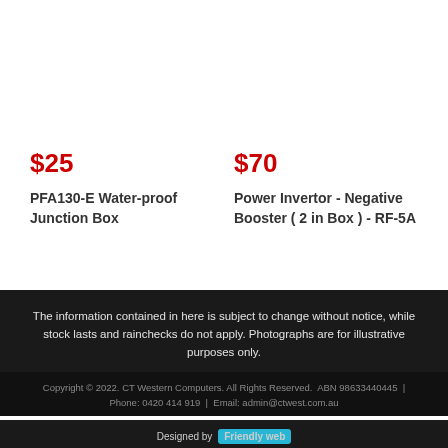$25
PFA130-E Water-proof Junction Box
$70
Power Invertor - Negative Booster ( 2 in Box ) - RF-5A
The information contained in here is subject to change without notice, while stock lasts and rainchecks do not apply. Photographs are for illustrative purposes only.
Copyright © 2022. CT Western Computers. All Rights Reserved.  ABN 98633440445  |  Phone: 0420 414 919  |  Email: admin@ctwest.com.au
Designed by Friendly web